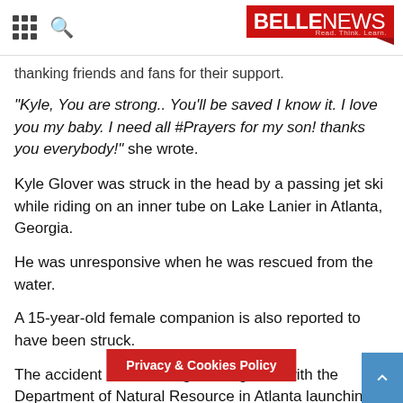BELLENEWS - Read. Think. Learn.
thanking friends and fans for their support.
"Kyle, You are strong.. You'll be saved I know it. I love you my baby. I need all #Prayers for my son! thanks you everybody!" she wrote.
Kyle Glover was struck in the head by a passing jet ski while riding on an inner tube on Lake Lanier in Atlanta, Georgia.
He was unresponsive when he was rescued from the water.
A 15-year-old female companion is also reported to have been struck.
The accident is now being investigated, with the Department of Natural Resource in Atlanta launching an inquiry.
They plan to recreate the incident to help determine what happened.
The Wildlife Resources Division department's Critical Incident Response Team will use specia... elp them determine facts about the...